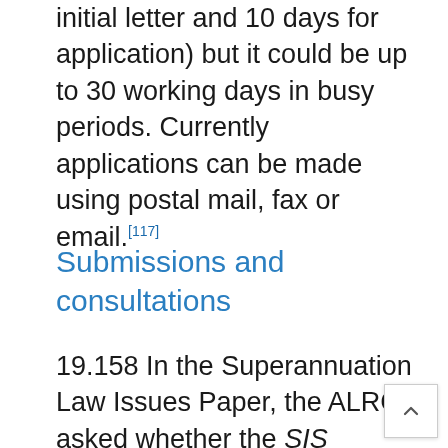initial letter and 10 days for application) but it could be up to 30 working days in busy periods. Currently applications can be made using postal mail, fax or email.[117]
Submissions and consultations
19.158 In the Superannuation Law Issues Paper, the ALRC asked whether the SIS Regulations should be amended to provide a specific compassionate ground to enable